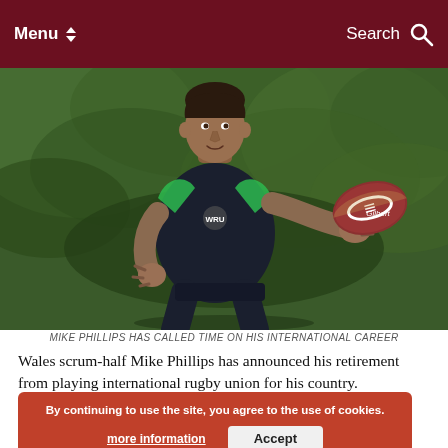Menu | Search
[Figure (photo): Welsh rugby player Mike Phillips wearing a dark training jersey with green accents and the Welsh dragon badge, passing a rugby ball during a training session outdoors against a green leafy background.]
MIKE PHILLIPS HAS CALLED TIME ON HIS INTERNATIONAL CAREER
Wales scrum-half Mike Phillips has announced his retirement from playing international rugby union for his country.
Thirty-three-year-old In ... Phillips will continue to play club rugby for his current club in France Racing 92.